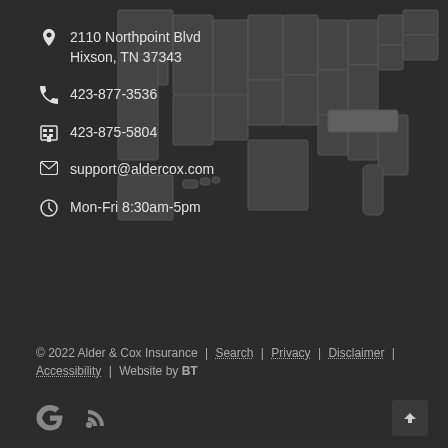2110 Northpoint Blvd
Hixson, TN 37343
423-877-3536
423-875-5804
support@aldercox.com
Mon-Fri 8:30am-5pm
[Figure (map): Faded dark map of the United States with Tennessee highlighted in slightly lighter gray]
© 2022 Alder & Cox Insurance | Search | Privacy | Disclaimer | Accessibility | Website by BT
[Figure (logo): Google icon (G logo) and RSS feed icon in footer]